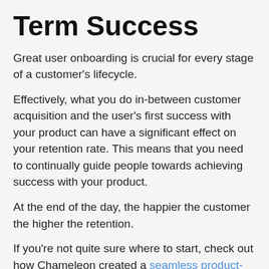Term Success
Great user onboarding is crucial for every stage of a customer's lifecycle.
Effectively, what you do in-between customer acquisition and the user's first success with your product can have a significant effect on your retention rate. This means that you need to continually guide people towards achieving success with your product.
At the end of the day, the happier the customer the higher the retention.
If you're not quite sure where to start, check out how Chameleon created a seamless product-led